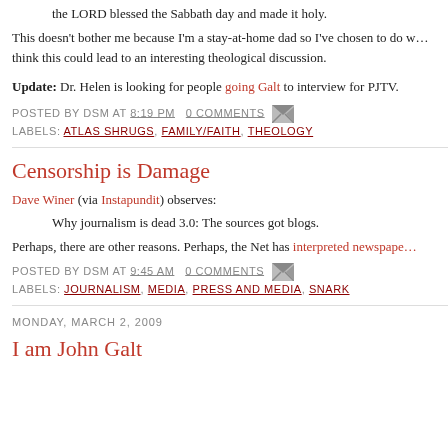the LORD blessed the Sabbath day and made it holy.
This doesn't bother me because I'm a stay-at-home dad so I've chosen to do w… think this could lead to an interesting theological discussion.
Update: Dr. Helen is looking for people going Galt to interview for PJTV.
POSTED BY DSM AT 8:19 PM   0 COMMENTS
LABELS: ATLAS SHRUGS, FAMILY/FAITH, THEOLOGY
Censorship is Damage
Dave Winer (via Instapundit) observes:
Why journalism is dead 3.0: The sources got blogs.
Perhaps, there are other reasons. Perhaps, the Net has interpreted newspape…
POSTED BY DSM AT 9:45 AM   0 COMMENTS
LABELS: JOURNALISM, MEDIA, PRESS AND MEDIA, SNARK
MONDAY, MARCH 2, 2009
I am John Galt